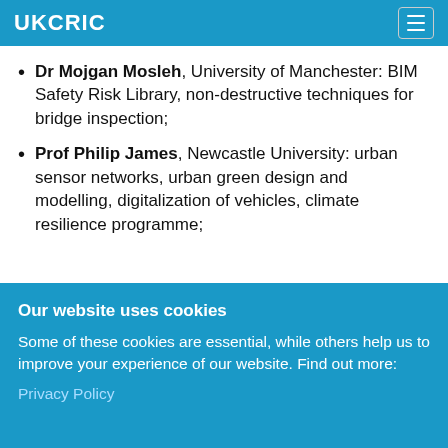UKCRIC
Dr Mojgan Mosleh, University of Manchester: BIM Safety Risk Library, non-destructive techniques for bridge inspection;
Prof Philip James, Newcastle University: urban sensor networks, urban green design and modelling, digitalization of vehicles, climate resilience programme;
Our website uses cookies
Some of these cookies are essential, while others help us to improve your experience of our website. Find out more:
Privacy Policy
Accept